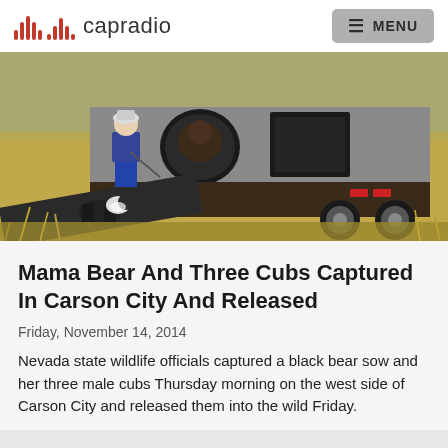capradio  MENU
[Figure (photo): A wildlife official stands near a large metal animal transport trailer on the back of a truck in a dry grassy field. A bear can be seen inside the round tube opening of the trailer. A black and white dog stands nearby on a ramp attached to the trailer.]
Mama Bear And Three Cubs Captured In Carson City And Released
Friday, November 14, 2014
Nevada state wildlife officials captured a black bear sow and her three male cubs Thursday morning on the west side of Carson City and released them into the wild Friday.